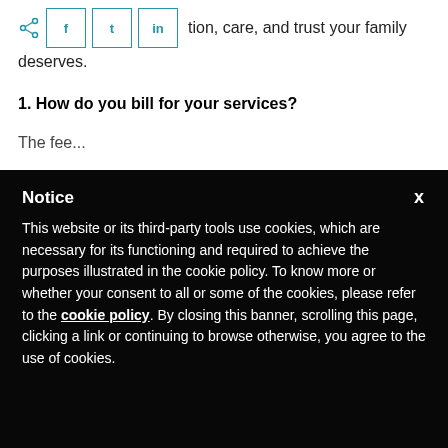kind information, care, and trust your family deserves.
1. How do you bill for your services?
The fee...
Notice

This website or its third-party tools use cookies, which are necessary for its functioning and required to achieve the purposes illustrated in the cookie policy. To know more or whether your consent to all or some of the cookies, please refer to the cookie policy. By closing this banner, scrolling this page, clicking a link or continuing to browse otherwise, you agree to the use of cookies.